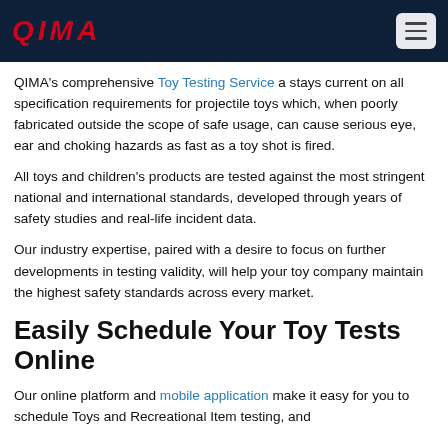QIMA
QIMA's comprehensive Toy Testing Service a stays current on all specification requirements for projectile toys which, when poorly fabricated outside the scope of safe usage, can cause serious eye, ear and choking hazards as fast as a toy shot is fired.
All toys and children's products are tested against the most stringent national and international standards, developed through years of safety studies and real-life incident data.
Our industry expertise, paired with a desire to focus on further developments in testing validity, will help your toy company maintain the highest safety standards across every market.
Easily Schedule Your Toy Tests Online
Our online platform and mobile application make it easy for you to schedule Toys and Recreational Item testing, and